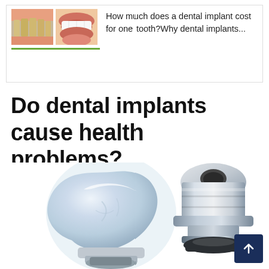[Figure (screenshot): A web article card showing two thumbnail images of teeth (one with discolored teeth, one with a smile showing white teeth), a green underline, and text reading 'How much does a dental implant cost for one tooth?Why dental implants...']
How much does a dental implant cost for one tooth?Why dental implants...
Do dental implants cause health problems?
[Figure (illustration): A 3D illustration of two dental implant components: on the left, a large pearl-white dental crown (tooth cap) mounted on a metal base; on the right, a metal abutment/connector piece sitting on a dark implant base. A dark blue scroll-to-top button is visible in the bottom right corner.]